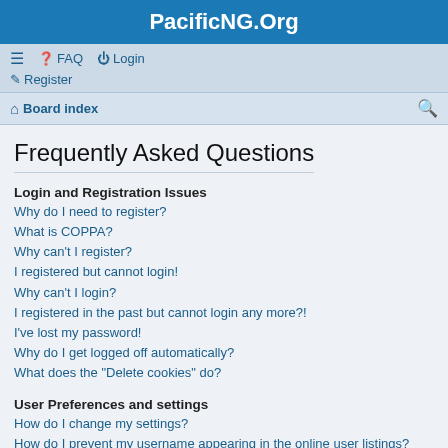PacificNG.Org
FAQ Login Register
Board index
Frequently Asked Questions
Login and Registration Issues
Why do I need to register?
What is COPPA?
Why can't I register?
I registered but cannot login!
Why can't I login?
I registered in the past but cannot login any more?!
I've lost my password!
Why do I get logged off automatically?
What does the "Delete cookies" do?
User Preferences and settings
How do I change my settings?
How do I prevent my username appearing in the online user listings?
The times are not correct!
I changed the timezone and the time is still wrong!
My language is not in the list!